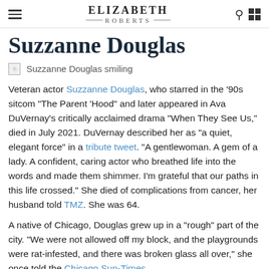ELIZABETH ROBERTS
Suzzanne Douglas
[Figure (photo): Suzzanne Douglas smiling]
Veteran actor Suzzanne Douglas, who starred in the '90s sitcom "The Parent 'Hood" and later appeared in Ava DuVernay's critically acclaimed drama "When They See Us," died in July 2021. DuVernay described her as "a quiet, elegant force" in a tribute tweet. "A gentlewoman. A gem of a lady. A confident, caring actor who breathed life into the words and made them shimmer. I'm grateful that our paths in this life crossed." She died of complications from cancer, her husband told TMZ. She was 64.
A native of Chicago, Douglas grew up in a "rough" part of the city. "We were not allowed off my block, and the playgrounds were rat-infested, and there was broken glass all over," she once told the Chicago Sun-Times.